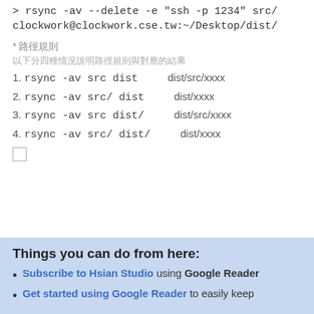> rsync -av --delete -e "ssh -p 1234" src/ clockwork@clockwork.cse.tw:~/Desktop/dist/
* 路徑規則
以下分四種情況說明路徑規則與對應的結果
1. rsync -av src dist 　→　dist/src/xxxx
2. rsync -av src/ dist 　→　dist/xxxx
3. rsync -av src dist/ 　→　dist/src/xxxx
4. rsync -av src/ dist/ 　→　dist/xxxx
Things you can do from here:
Subscribe to Hsian Studio using Google Reader
Get started using Google Reader to easily keep